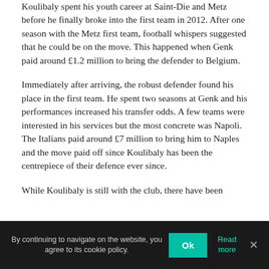Koulibaly spent his youth career at Saint-Die and Metz before he finally broke into the first team in 2012. After one season with the Metz first team, football whispers suggested that he could be on the move. This happened when Genk paid around £1.2 million to bring the defender to Belgium.
Immediately after arriving, the robust defender found his place in the first team. He spent two seasons at Genk and his performances increased his transfer odds. A few teams were interested in his services but the most concrete was Napoli. The Italians paid around £7 million to bring him to Naples and the move paid off since Koulibaly has been the centrepiece of their defence ever since.
While Koulibaly is still with the club, there have been
By continuing to navigate on the website, you agree to its cookie policy.